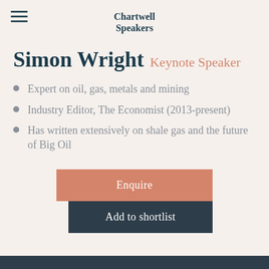Chartwell Speakers
Simon Wright Keynote Speaker
Expert on oil, gas, metals and mining
Industry Editor, The Economist (2013-present)
Has written extensively on shale gas and the future of Big Oil
Enquire
Add to shortlist